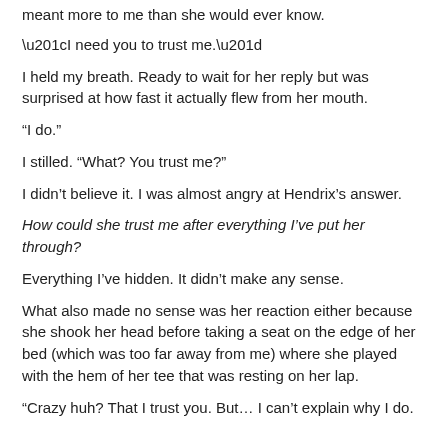meant more to me than she would ever know.
“I need you to trust me.”
I held my breath. Ready to wait for her reply but was surprised at how fast it actually flew from her mouth.
“I do.”
I stilled. “What? You trust me?”
I didn’t believe it. I was almost angry at Hendrix’s answer.
How could she trust me after everything I’ve put her through?
Everything I’ve hidden. It didn’t make any sense.
What also made no sense was her reaction either because she shook her head before taking a seat on the edge of her bed (which was too far away from me) where she played with the hem of her tee that was resting on her lap.
“Crazy huh? That I trust you. But… I can’t explain why I do. It’s just there.”